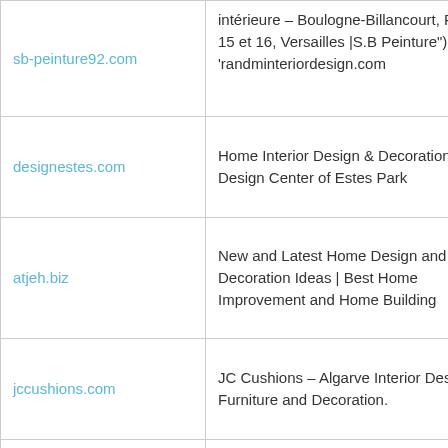| Domain | Description |
| --- | --- |
| sb-peinture92.com | intérieure – Boulogne-Billancourt, Paris 15 et 16, Versailles |S.B Peinture") 'randminteriordesign.com |
| designestes.com | Home Interior Design & Decoration — Design Center of Estes Park |
| atjeh.biz | New and Latest Home Design and Decoration Ideas | Best Home Improvement and Home Building |
| jccushions.com | JC Cushions – Algarve Interior Design, Furniture and Decoration. |
| roxipan.com | ROXIPAN Panneau béton ciré sur support bois : panneau béton, plancher et revetement de mur en béton ciré plaquage béton sur bois, enduit béton |